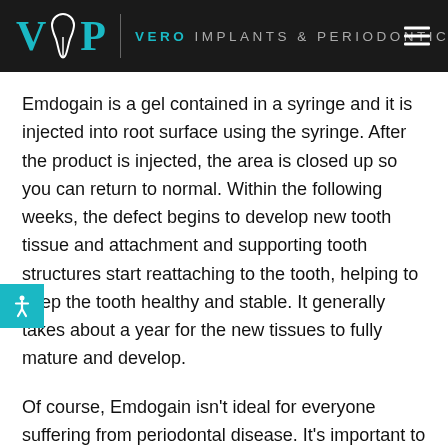VERO IMPLANTS & PERIODONTICS
Emdogain is a gel contained in a syringe and it is injected into root surface using the syringe. After the product is injected, the area is closed up so you can return to normal. Within the following weeks, the defect begins to develop new tooth tissue and attachment and supporting tooth structures start reattaching to the tooth, helping to keep the tooth healthy and stable. It generally takes about a year for the new tissues to fully mature and develop.
Of course, Emdogain isn't ideal for everyone suffering from periodontal disease. It's important to speak with your dentist at Vero VIP Implants and Periodontics to find out if this option is right for you. Our office uses the